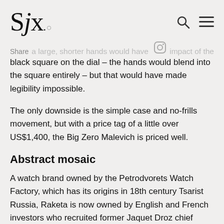SJx.
...a large, shorter hands would have maximised impact of the black square on the dial – the hands would blend into the square entirely – but that would have made legibility impossible.
The only downside is the simple case and no-frills movement, but with a price tag of a little over US$1,400, the Big Zero Malevich is priced well.
Abstract mosaic
A watch brand owned by the Petrodvorets Watch Factory, which has its origins in 18th century Tsarist Russia, Raketa is now owned by English and French investors who recruited former Jaquet Droz chief executive Manuel Emch as a consultant. An industry veteran who's an art collector himself, Mr Emch is no doubt responsible for the tie up with Tretyakov Gallery.